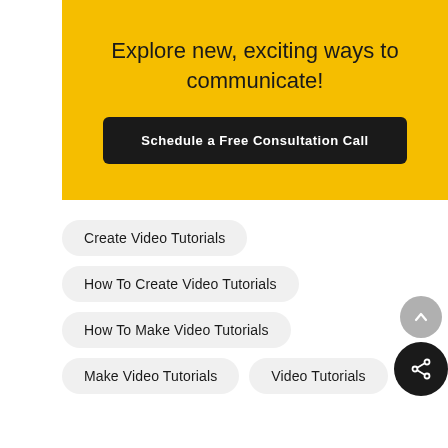Explore new, exciting ways to communicate!
Schedule a Free Consultation Call
Create Video Tutorials
How To Create Video Tutorials
How To Make Video Tutorials
Make Video Tutorials
Video Tutorials